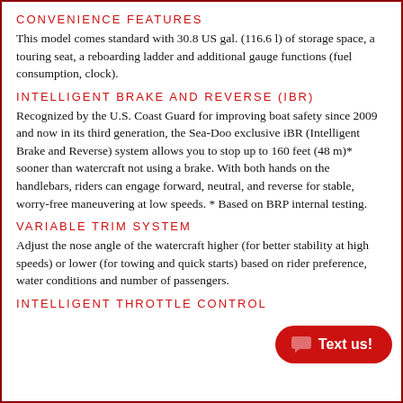CONVENIENCE FEATURES
This model comes standard with 30.8 US gal. (116.6 l) of storage space, a touring seat, a reboarding ladder and additional gauge functions (fuel consumption, clock).
INTELLIGENT BRAKE AND REVERSE (IBR)
Recognized by the U.S. Coast Guard for improving boat safety since 2009 and now in its third generation, the Sea-Doo exclusive iBR (Intelligent Brake and Reverse) system allows you to stop up to 160 feet (48 m)* sooner than watercraft not using a brake. With both hands on the handlebars, riders can engage forward, neutral, and reverse for stable, worry-free maneuvering at low speeds. * Based on BRP internal testing.
VARIABLE TRIM SYSTEM
Adjust the nose angle of the watercraft higher (for better stability at high speeds) or lower (for towing and quick starts) based on rider preference, water co… number of passengers.
INTELLIGENT THROTTLE CONTROL